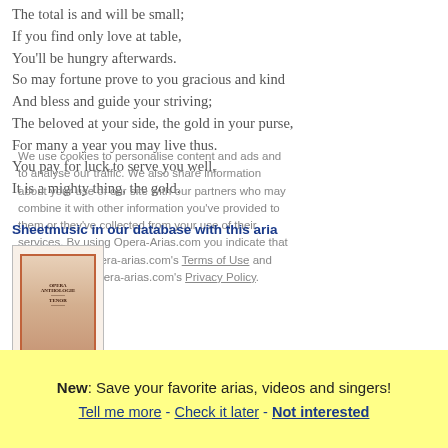The total is and will be small;
If you find only love at table,
You'll be hungry afterwards.
So may fortune prove to you gracious and kind
And bless and guide your striving;
The beloved at your side, the gold in your purse,
For many a year you may live thus.
You pay for luck to serve you well,
It is a mighty thing, the gold.
We use cookies to personalise content and ads and to analyse our traffic. We also share information about your use of our site with our partners who may combine it with other information you've provided to them or they've collected from your use of their services. By using Opera-Arias.com you indicate that you agree to Opera-arias.com's Terms of Use and acknowledge Opera-arias.com's Privacy Policy. Learn more
Sheetmusic in our database with this aria
[Figure (illustration): Book cover image with decorative red border on beige/tan background showing opera-related sheet music publication]
External links for Hat man nicht auch Gold beineben
New: Save your favorite arias, videos and singers!
Tell me more - Check it later - Not interested